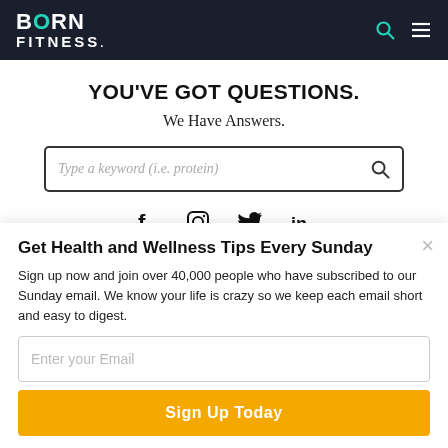BORN FITNESS.
YOU'VE GOT QUESTIONS.
We Have Answers.
[Figure (other): Search input box with placeholder text 'Type a keyword (i.e. protein)' and search icon]
[Figure (other): Social media icons row: Facebook, Instagram, Twitter, LinkedIn]
Get Health and Wellness Tips Every Sunday
Sign up now and join over 40,000 people who have subscribed to our Sunday email. We know your life is crazy so we keep each email short and easy to digest.
[Figure (other): Email input field with placeholder 'Enter your Email']
Sign Up Today